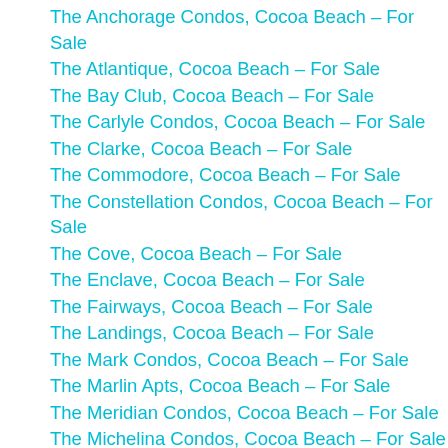The Anchorage Condos, Cocoa Beach – For Sale
The Atlantique, Cocoa Beach – For Sale
The Bay Club, Cocoa Beach – For Sale
The Carlyle Condos, Cocoa Beach – For Sale
The Clarke, Cocoa Beach – For Sale
The Commodore, Cocoa Beach – For Sale
The Constellation Condos, Cocoa Beach – For Sale
The Cove, Cocoa Beach – For Sale
The Enclave, Cocoa Beach – For Sale
The Fairways, Cocoa Beach – For Sale
The Landings, Cocoa Beach – For Sale
The Mark Condos, Cocoa Beach – For Sale
The Marlin Apts, Cocoa Beach – For Sale
The Meridian Condos, Cocoa Beach – For Sale
The Michelina Condos, Cocoa Beach – For Sale
The Ocean Paradise Condo, Cocoa Beach – For Sale
The Sandprint Condo, Cocoa Beach – For Sale
The Sands Condo, Cocoa Beach – For Sale
The Sea Oats Condos, Cocoa Beach – For Sale
The Surf Condo, Cocoa Beach – For Sale
The Wavecrest Condo, Cocoa Beach – For Sale